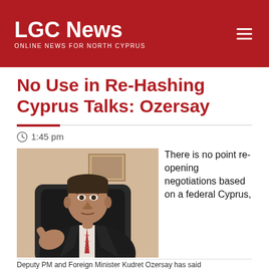LGC News — ONLINE NEWS FOR NORTH CYPRUS
No Use in Re-Hashing Cyprus Talks: Ozersay
1:45 pm
[Figure (photo): Deputy PM and Foreign Minister Kudret Ozersay seated at a desk, gesturing with one hand, wearing a dark suit and striped tie.]
There is no point re-opening negotiations based on a federal Cyprus,
Deputy PM and Foreign Minister Kudret Ozersay has said